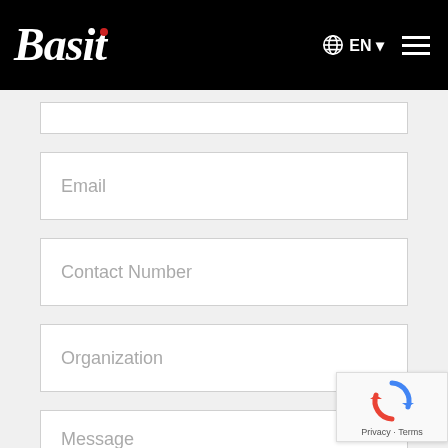[Figure (logo): Basit company logo in white italic serif font on black header bar, with red dot above the 'i', plus globe/EN language selector and hamburger menu on the right]
Email
Contact Number
Organization
Message
[Figure (other): reCAPTCHA widget overlay in bottom-right corner showing the reCAPTCHA logo and 'Privacy · Terms' text]